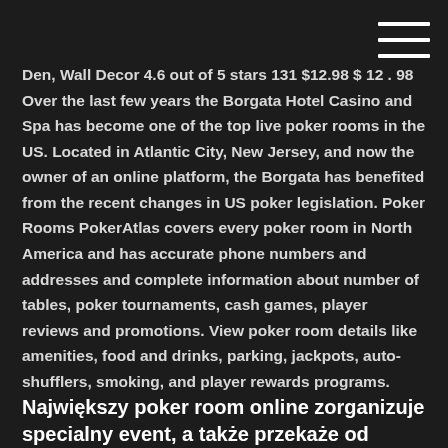[Figure (other): Hamburger menu icon (three horizontal white lines) in the top-right corner on a dark background]
Den, Wall Decor 4.6 out of 5 stars 131 $12.98 $ 12 . 98 Over the last few years the Borgata Hotel Casino and Spa has become one of the top live poker rooms in the US. Located in Atlantic City, New Jersey, and now the owner of an online platform, the Borgata has benefited from the recent changes in US poker legislation. Poker Rooms PokerAtlas covers every poker room in North America and has accurate phone numbers and addresses and complete information about number of tables, poker tournaments, cash games, player reviews and promotions. View poker room details like amenities, food and drinks, parking, jackpots, auto-shufflers, smoking, and player rewards programs.
Największy poker room online zorganizuje specialny event, a także przekaże od